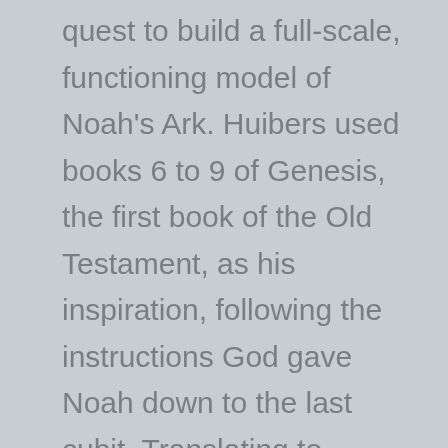quest to build a full-scale, functioning model of Noah's Ark. Huibers used books 6 to 9 of Genesis, the first book of the Old Testament, as his inspiration, following the instructions God gave Noah down to the last cubit. Translating to modern measurements, Huibers came up with a vessel that works out to a whopping 130m long, 29m across